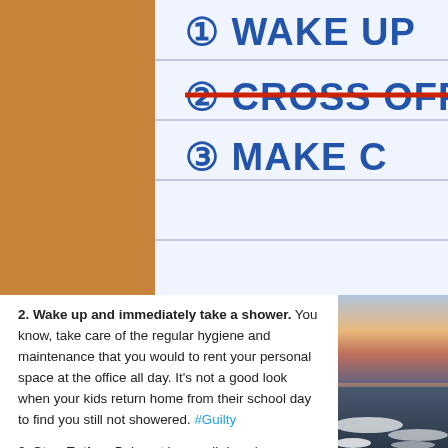[Figure (illustration): Animated cartoon illustration (Simpsons-style) showing a yellow hand holding a red pencil crossing off items on a lined notepad. Visible list items: 1. WAKE UP, 2. CROSS OFF 'WAKE UP' (crossed out with red line), 3. MAKE C... (partially visible). Viewed from an angle on a wooden desk.]
2. Wake up and immediately take a shower. You know, take care of the regular hygiene and maintenance that you would to rent your personal space at the office all day. It's not a good look when your kids return home from their school day to find you still not showered. #Guilty
3. Stop Eating. Being at home all day gives you free reign of the kitchen. Yes, even my son's fruit snacks are fair game. I recently read something somewhere
[Figure (photo): Photo of ocean waves crashing on a beach at sunset/dusk with colorful sky in the background. Shown on the right side of the page.]